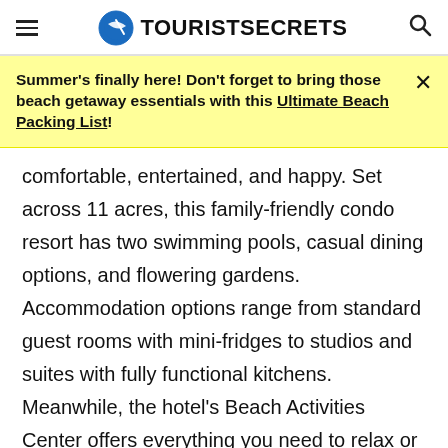TOURIST SECRETS
Summer's finally here! Don't forget to bring those beach getaway essentials with this Ultimate Beach Packing List!
comfortable, entertained, and happy. Set across 11 acres, this family-friendly condo resort has two swimming pools, casual dining options, and flowering gardens. Accommodation options range from standard guest rooms with mini-fridges to studios and suites with fully functional kitchens. Meanwhile, the hotel's Beach Activities Center offers everything you need to relax or play in the sun! They even had sand and beach toys for little ones, in